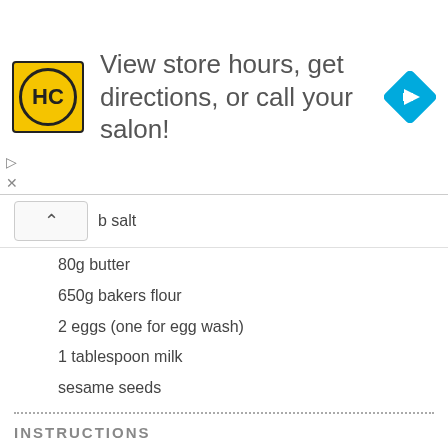[Figure (other): Advertisement banner for HC (Hair Club or similar) salon service with logo, text 'View store hours, get directions, or call your salon!' and a blue direction arrow icon. Also shows play and close UI controls.]
b salt
80g butter
650g bakers flour
2 eggs (one for egg wash)
1 tablespoon milk
sesame seeds
INSTRUCTIONS
Place the sugar in the TM bowl and whiz for 3 seconds on speed 9.
Add the milk and heat on 50 degrees for 90 seconds.
Add the yeast, butter, flour, salt and egg in the TM bowl and mix to combine for 10 seconds on speed 7.
Set the dial to closed lid position. Knead for 3 minutes on Interval speed.
Remove the dough and form a ball and place in a large lightly